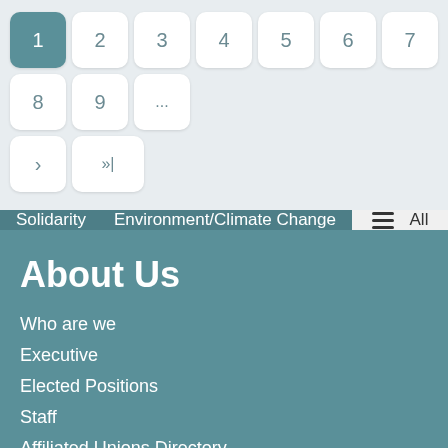Pagination: 1 (active), 2, 3, 4, 5, 6, 7, 8, 9, ..., ›, »|
Solidarity  Environment/Climate Change  ☰  All
About Us
Who are we
Executive
Elected Positions
Staff
Affiliated Unions Directory
Congress